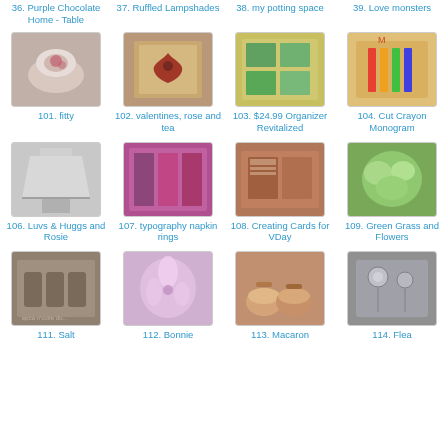36. Purple Chocolate Home - Table
37. Ruffled Lampshades
38. my potting space
39. Love monsters
[Figure (photo): Thumbnail image 101 - teacup with roses]
101. fitty
[Figure (photo): Thumbnail image 102 - heart shaped wreath]
102. valentines, rose and tea
[Figure (photo): Thumbnail image 103 - organizer boxes]
103. $24.99 Organizer Revitalized
[Figure (photo): Thumbnail image 104 - crayon monogram]
104. Cut Crayon Monogram
[Figure (photo): Thumbnail image 106 - lamp shade]
106. Luvs & Huggs and Rosie
[Figure (photo): Thumbnail image 107 - typography napkin rings]
107. typography napkin rings
[Figure (photo): Thumbnail image 108 - Valentine cards]
108. Creating Cards for VDay
[Figure (photo): Thumbnail image 109 - green flowers]
109. Green Grass and Flowers
[Figure (photo): Thumbnail image 111 - salt]
111. Salt
[Figure (photo): Thumbnail image 112 - Bonnie]
112. Bonnie
[Figure (photo): Thumbnail image 113 - Macaron]
113. Macaron
[Figure (photo): Thumbnail image 114 - Flea]
114. Flea